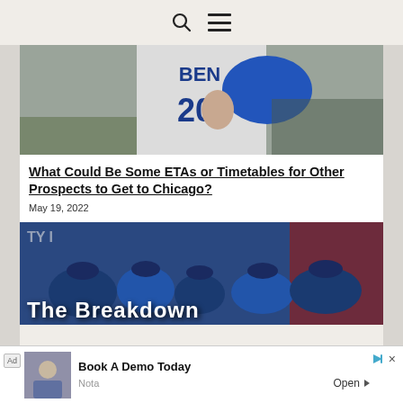[search icon] [menu icon]
[Figure (photo): Baseball player wearing jersey number 20 with 'BEND' text, holding a baseball, partial torso view in stadium setting]
What Could Be Some ETAs or Timetables for Other Prospects to Get to Chicago?
May 19, 2022
[Figure (photo): Group of baseball players in blue uniforms sitting in dugout, with 'The Breakdown' text overlay at bottom]
Ad  Book A Demo Today  Nota  Open